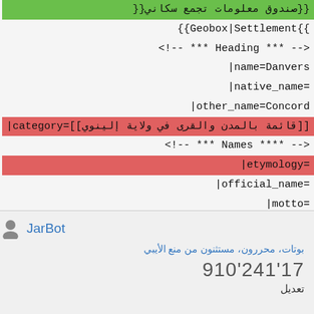{{صندوق معلومات تجمع سكاني}}
Geobox|Settlement}}
<!-- *** Heading *** --!>
name=Danvers|
=native_name|
other_name=Concord|
|category=[[قائمة بالمدن والقرى في ولاية إلينوي]]
<!-- **** Names *** --!>
=etymology|
=official_name|
=motto|
JarBot
بوتات، محررون، مستثنون من منع الأيبي
17'241'910
تعديل